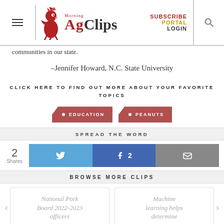Morning AgClips — SUBSCRIBE PORTAL LOGIN
communities in our state.
–Jennifer Howard, N.C. State University
CLICK HERE TO FIND OUT MORE ABOUT YOUR FAVORITE TOPICS
EDUCATION
PEANUTS
SPREAD THE WORD
2 Shares
BROWSE MORE CLIPS
National Pork Board 2022-2023 officers
Machine learning helps determine